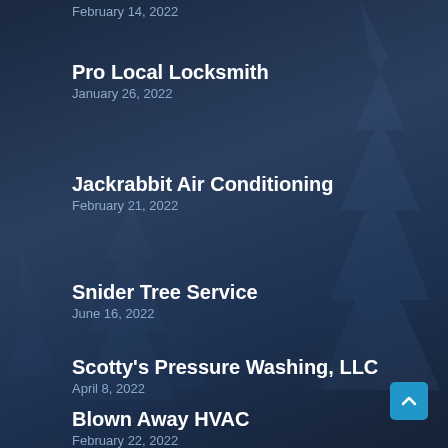February 14, 2022
Pro Local Locksmith
January 26, 2022
Jackrabbit Air Conditioning
February 21, 2022
Snider Tree Service
June 16, 2022
Scotty's Pressure Washing, LLC
April 8, 2022
Blown Away HVAC
February 22, 2022